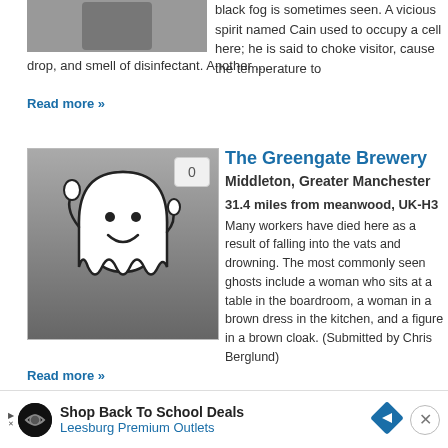[Figure (illustration): Partial ghost/dark figure image clipped at top]
black fog is sometimes seen. A vicious spirit named Cain used to occupy a cell here; he is said to choke visitor, cause the temperature to drop, and smell of disinfectant. Another ...
Read more »
[Figure (illustration): Ghost cartoon image - white smiling ghost on grey gradient background with badge showing 0]
The Greengate Brewery
Middleton, Greater Manchester
31.4 miles from meanwood, UK-H3
Many workers have died here as a result of falling into the vats and drowning. The most commonly seen ghosts include a woman who sits at a table in the boardroom, a woman in a brown dress in the kitchen, and a figure in a brown cloak. (Submitted by Chris Berglund)
Read more »
[Figure (illustration): Partial haunted location image clipped at bottom with badge showing 0]
The Manor Castle
Shop Back To School Deals - Leesburg Premium Outlets advertisement